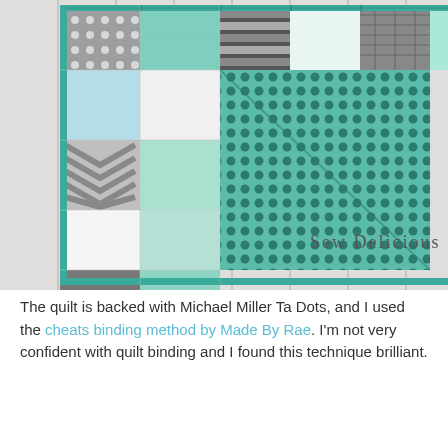[Figure (photo): A patchwork quilt folded and displayed against a white wooden fence/wall. The quilt features teal/mint, gray, and white fabric patches with various patterns including chevron, polka dots, and geometric prints. The backing of the quilt is visible showing a teal polka dot fabric. Text 'Sew Delicious' appears in the lower right of the photo.]
The quilt is backed with Michael Miller Ta Dots, and I used the cheats binding method by Made By Rae. I'm not very confident with quilt binding and I found this technique brilliant.